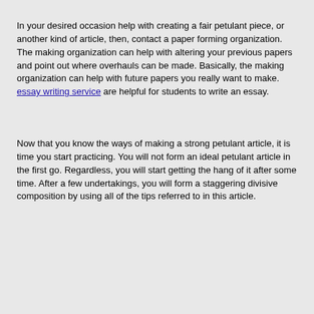In your desired occasion help with creating a fair petulant piece, or another kind of article, then, contact a paper forming organization. The making organization can help with altering your previous papers and point out where overhauls can be made. Basically, the making organization can help with future papers you really want to make. essay writing service are helpful for students to write an essay.
Now that you know the ways of making a strong petulant article, it is time you start practicing. You will not form an ideal petulant article in the first go. Regardless, you will start getting the hang of it after some time. After a few undertakings, you will form a staggering divisive composition by using all of the tips referred to in this article.